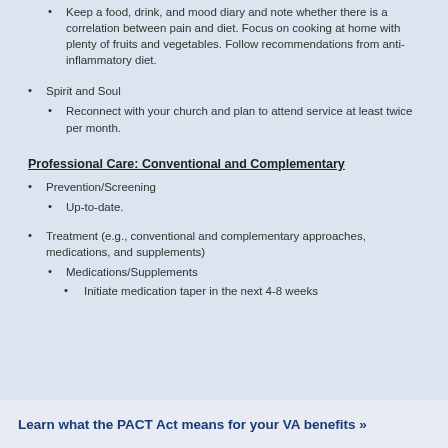Keep a food, drink, and mood diary and note whether there is a correlation between pain and diet. Focus on cooking at home with plenty of fruits and vegetables. Follow recommendations from anti-inflammatory diet.
Spirit and Soul
Reconnect with your church and plan to attend service at least twice per month.
Professional Care: Conventional and Complementary
Prevention/Screening
Up-to-date.
Treatment (e.g., conventional and complementary approaches, medications, and supplements)
Medications/Supplements
Initiate medication taper in the next 4-8 weeks
Learn what the PACT Act means for your VA benefits »